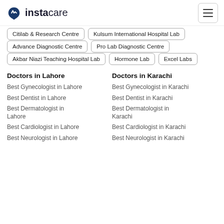instacare
Citilab & Research Centre
Kulsum International Hospital Lab
Advance Diagnostic Centre
Pro Lab Diagnostic Centre
Akbar Niazi Teaching Hospital Lab
Hormone Lab
Excel Labs
Doctors in Lahore
Doctors in Karachi
Best Gynecologist in Lahore
Best Gynecologist in Karachi
Best Dentist in Lahore
Best Dentist in Karachi
Best Dermatologist in Lahore
Best Dermatologist in Karachi
Best Cardiologist in Lahore
Best Cardiologist in Karachi
Best Neurologist in Lahore
Best Neurologist in Karachi